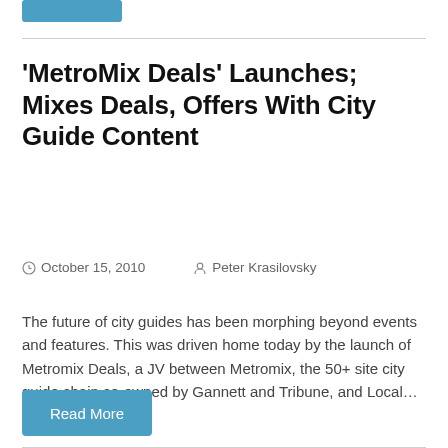'MetroMix Deals' Launches; Mixes Deals, Offers With City Guide Content
October 15, 2010   Peter Krasilovsky
The future of city guides has been morphing beyond events and features. This was driven home today by the launch of Metromix Deals, a JV between Metromix, the 50+ site city guide chain co-owned by Gannett and Tribune, and Local...